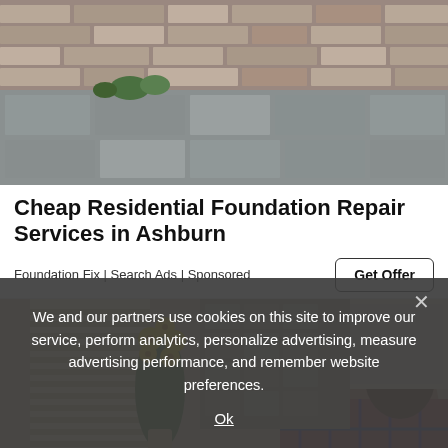[Figure (photo): Aerial view of stone/brick wall and paved walkway with green plants]
Cheap Residential Foundation Repair Services in Ashburn
Foundation Fix | Search Ads | Sponsored
Get Offer
[Figure (photo): Person in plaid shirt leaning over a kitchen counter or workspace, with yellow flowers visible in background near window blinds]
We and our partners use cookies on this site to improve our service, perform analytics, personalize advertising, measure advertising performance, and remember website preferences.
Ok